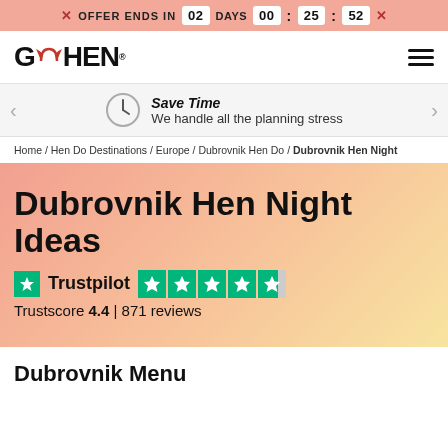OFFER ENDS IN 02 DAYS 00 : 25 : 52
[Figure (logo): Go Hen logo with red devil horns]
Save Time
We handle all the planning stress
Home / Hen Do Destinations / Europe / Dubrovnik Hen Do / Dubrovnik Hen Night
Dubrovnik Hen Night Ideas
[Figure (other): Trustpilot rating: 4.4 out of 5 stars, 871 reviews]
Trustscore 4.4 | 871 reviews
Dubrovnik Menu